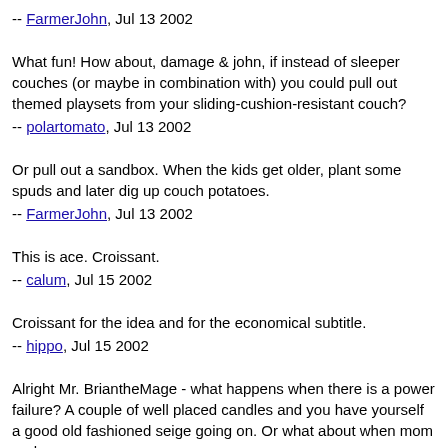-- FarmerJohn, Jul 13 2002
What fun! How about, damage & john, if instead of sleeper couches (or maybe in combination with) you could pull out themed playsets from your sliding-cushion-resistant couch?
-- polartomato, Jul 13 2002
Or pull out a sandbox. When the kids get older, plant some spuds and later dig up couch potatoes.
-- FarmerJohn, Jul 13 2002
This is ace. Croissant.
-- calum, Jul 15 2002
Croissant for the idea and for the economical subtitle.
-- hippo, Jul 15 2002
Alright Mr. BriantheMage - what happens when there is a power failure? A couple of well placed candles and you have yourself a good old fashioned seige going on. Or what about when mom and